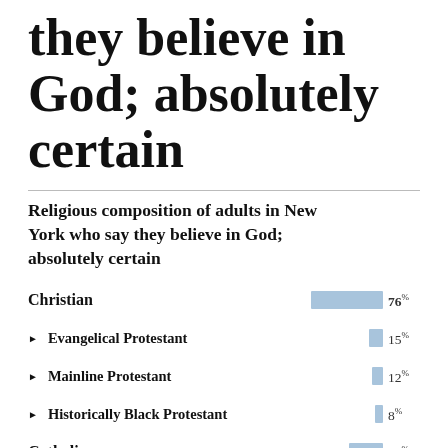they believe in God; absolutely certain
Religious composition of adults in New York who say they believe in God; absolutely certain
[Figure (bar-chart): Religious composition of adults in New York who say they believe in God; absolutely certain]